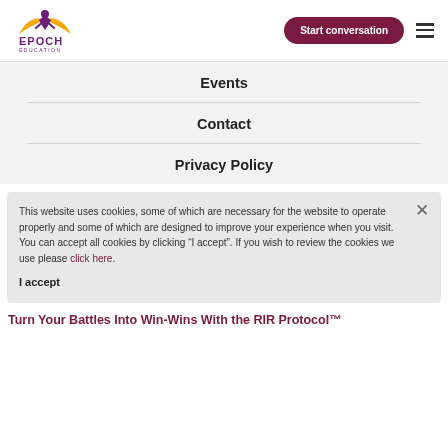[Figure (logo): Epoch Education logo with stylized person above open book in purple/yellow, text EPOCH EDUCATION below]
Start conversation
Events
Contact
Privacy Policy
This website uses cookies, some of which are necessary for the website to operate properly and some of which are designed to improve your experience when you visit. You can accept all cookies by clicking “I accept”. If you wish to review the cookies we use please click here.
I accept
Turn Your Battles Into Win-Wins With the RIR Protocol™